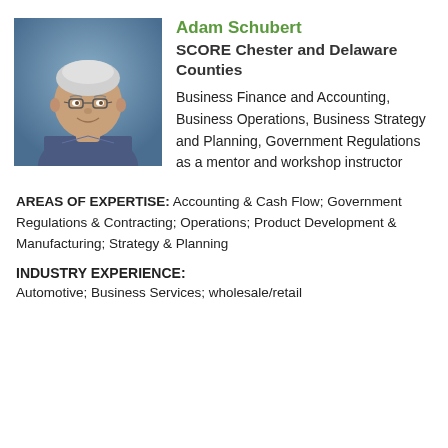[Figure (photo): Headshot photo of Adam Schubert, an older man with gray hair and glasses, wearing a blue striped shirt, against a blue background.]
Adam Schubert
SCORE Chester and Delaware Counties
Business Finance and Accounting, Business Operations, Business Strategy and Planning, Government Regulations as a mentor and workshop instructor
AREAS OF EXPERTISE: Accounting & Cash Flow; Government Regulations & Contracting; Operations; Product Development & Manufacturing; Strategy & Planning
INDUSTRY EXPERIENCE:
Automotive; Business Services; wholesale/retail